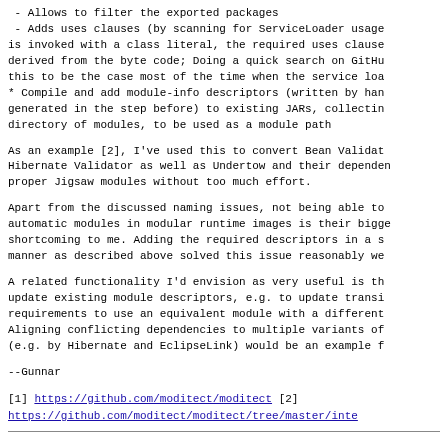- Allows to filter the exported packages
 - Adds uses clauses (by scanning for ServiceLoader usage is invoked with a class literal, the required uses clause derived from the byte code; Doing a quick search on GitHub this to be the case most of the time when the service loader
* Compile and add module-info descriptors (written by hand, generated in the step before) to existing JARs, collecting directory of modules, to be used as a module path
As an example [2], I've used this to convert Bean Validation, Hibernate Validator as well as Undertow and their dependencies proper Jigsaw modules without too much effort.
Apart from the discussed naming issues, not being able to automatic modules in modular runtime images is their biggest shortcoming to me. Adding the required descriptors in a systematic manner as described above solved this issue reasonably well.
A related functionality I'd envision as very useful is the update existing module descriptors, e.g. to update transitive requirements to use an equivalent module with a different name. Aligning conflicting dependencies to multiple variants of (e.g. by Hibernate and EclipseLink) would be an example for
--Gunnar
[1]  https://github.com/moditect/moditect
[2]  https://github.com/moditect/moditect/tree/master/inte